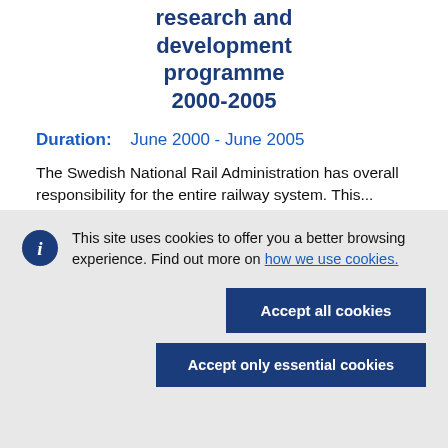research and development programme 2000-2005
Duration:   June 2000 - June 2005
The Swedish National Rail Administration has overall responsibility for the entire railway system. This...
This site uses cookies to offer you a better browsing experience. Find out more on how we use cookies.
Accept all cookies
Accept only essential cookies